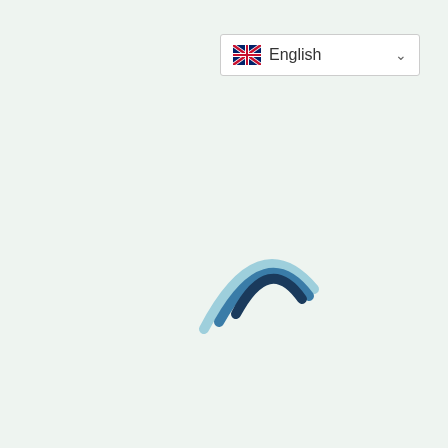[Figure (screenshot): Language selector dropdown showing UK flag and 'English' text with chevron, on a light green background with a loading spinner (three curved arc stripes in dark navy, medium blue, and light blue)]